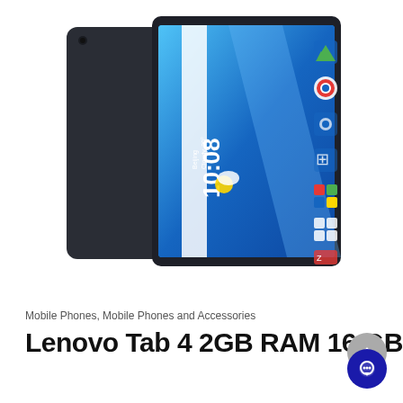[Figure (photo): Lenovo Tab 4 tablet shown from a rear-angled view revealing the dark back panel, and from the front showing the Android home screen with time 10:08, weather widget, and various app icons on a blue gradient background.]
Mobile Phones, Mobile Phones and Accessories
Lenovo Tab 4 2GB RAM 16 GB RO...